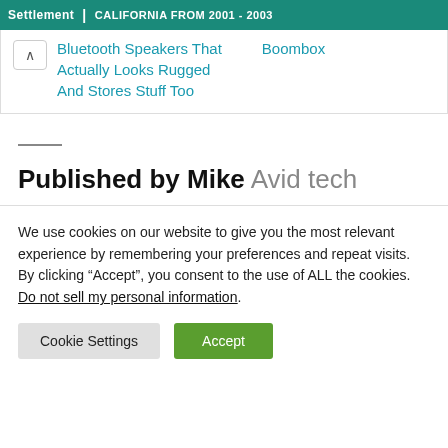Settlement | CALIFORNIA FROM 2001 - 2003
Bluetooth Speakers That Actually Looks Rugged And Stores Stuff Too
Boombox
Published by Mike Avid tech
We use cookies on our website to give you the most relevant experience by remembering your preferences and repeat visits. By clicking “Accept”, you consent to the use of ALL the cookies. Do not sell my personal information.